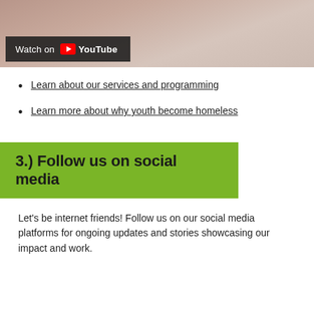[Figure (screenshot): Video thumbnail showing a woman with a 'Watch on YouTube' overlay bar at the bottom left]
Learn about our services and programming
Learn more about why youth become homeless
3.) Follow us on social media
Let's be internet friends! Follow us on our social media platforms for ongoing updates and stories showcasing our impact and work.